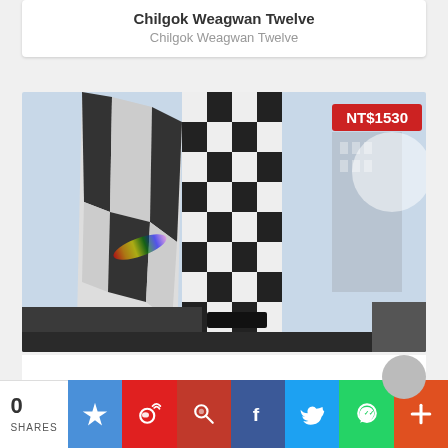Chilgok Weagwan Twelve
Chilgok Weagwan Twelve
[Figure (photo): Looking-up view of a black and white checkered multi-story building with rainbow light reflection, other buildings visible in background. Price badge: NT$1530]
0
SHARES